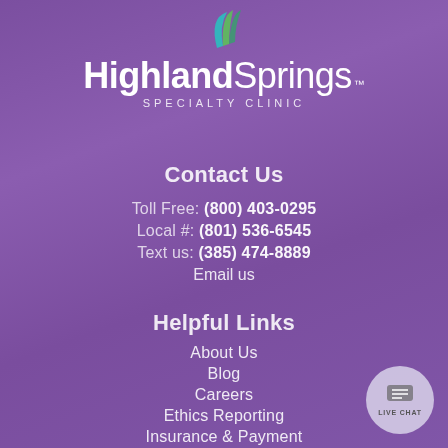[Figure (logo): Highland Springs Specialty Clinic logo with teal/green swoosh icon above bold text]
Contact Us
Toll Free: (800) 403-0295
Local #: (801) 536-6545
Text us: (385) 474-8889
Email us
Helpful Links
About Us
Blog
Careers
Ethics Reporting
Insurance & Payment
[Figure (illustration): Live Chat button bubble in lower right corner with chat icon and LIVE CHAT label]